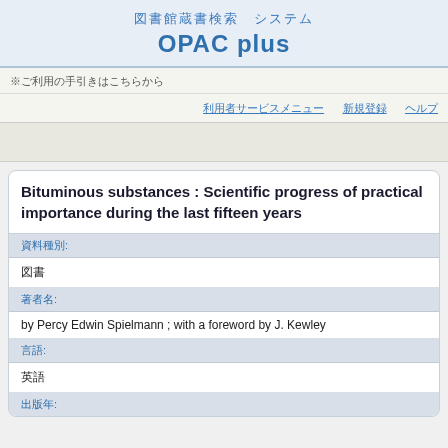図書館蔵書検索 システム
OPAC plus
※ご利用の手引きはこちらから
ログイン　新規登録　ヘルプ　お問い合わせ
Bituminous substances : Scientific progress of practical importance during the last fifteen years
資料種別:
図書
著者名:
by Percy Edwin Spielmann ; with a foreword by J. Kewley
言語:
英語
出版年: